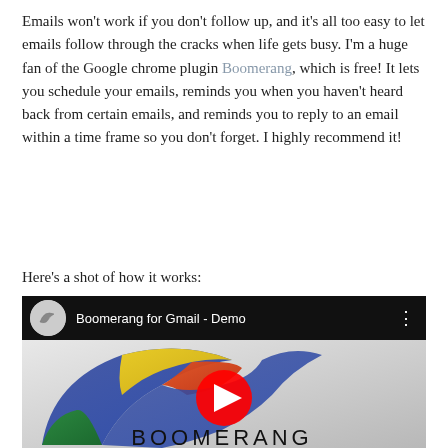Emails won't work if you don't follow up, and it's all too easy to let emails follow through the cracks when life gets busy. I'm a huge fan of the Google chrome plugin Boomerang, which is free! It lets you schedule your emails, reminds you when you haven't heard back from certain emails, and reminds you to reply to an email within a time frame so you don't forget. I highly recommend it!
Here's a shot of how it works:
[Figure (screenshot): YouTube video thumbnail for 'Boomerang for Gmail - Demo' showing the Boomerang logo (a colorful boomerang shape in blue, green, yellow, orange colors) with a YouTube play button overlay and the text BOOMERANG below.]